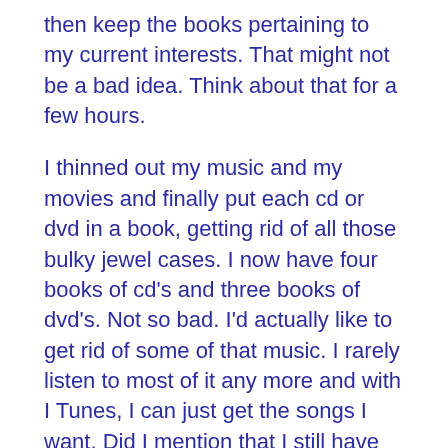then keep the books pertaining to my current interests. That might not be a bad idea. Think about that for a few hours.
I thinned out my music and my movies and finally put each cd or dvd in a book, getting rid of all those bulky jewel cases. I now have four books of cd's and three books of dvd's. Not so bad. I'd actually like to get rid of some of that music. I rarely listen to most of it any more and with I Tunes, I can just get the songs I want. Did I mention that I still have my record collection-1000 albums and a tiny record player? I love them, but they are in my mother's garage....
Clothes: what can I say? I have way too many clothes and the funny thing is, last summer I went through my clothes and reduced my wardrobe by half! Most of